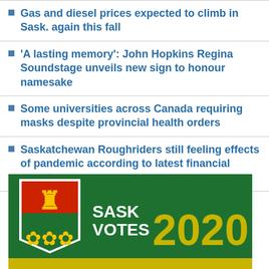Gas and diesel prices expected to climb in Sask. again this fall
'A lasting memory': John Hopkins Regina Soundstage unveils new sign to honour namesake
Some universities across Canada requiring masks despite provincial health orders
Saskatchewan Roughriders still feeling effects of pandemic according to latest financial report
Additional Stories
[Figure (logo): Sask Votes 2020 banner with Saskatchewan provincial shield/crest on green background with yellow '2020' text]